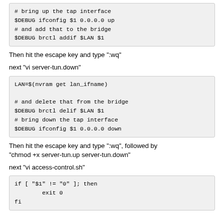# bring up the tap interface
$DEBUG ifconfig $1 0.0.0.0 up
# and add that to the bridge
$DEBUG brctl addif $LAN $1
Then hit the escape key and type ":wq"
next "vi server-tun.down"
LAN=$(nvram get lan_ifname)

# and delete that from the bridge
$DEBUG brctl delif $LAN $1
# bring down the tap interface
$DEBUG ifconfig $1 0.0.0.0 down
Then hit the escape key and type ":wq", followed by "chmod +x server-tun.up server-tun.down"
next "vi access-control.sh"
if [ "$1" != "0" ]; then
        exit 0
fi